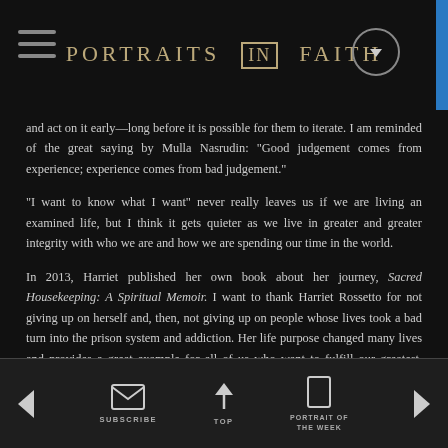PORTRAITS IN FAITH
and act on it early—long before it is possible for them to iterate. I am reminded of the great saying by Mulla Nasrudin: "Good judgement comes from experience; experience comes from bad judgement."
"I want to know what I want" never really leaves us if we are living an examined life, but I think it gets quieter as we live in greater and greater integrity with who we are and how we are spending our time in the world.
In 2013, Harriet published her own book about her journey, Sacred Housekeeping: A Spiritual Memoir. I want to thank Harriet Rossetto for not giving up on herself and, then, not giving up on people whose lives took a bad turn into the prison system and addiction. Her life purpose changed many lives and provides a great example for all of us who want to fulfill our greatest, positive impact on the world while we are here on this Earth.
SUBSCRIBE | TOP | PORTRAIT OF THE WEEK